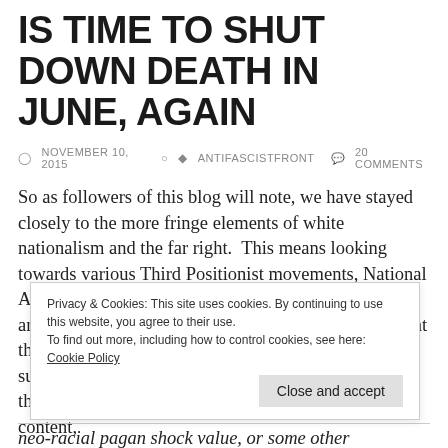IS TIME TO SHUT DOWN DEATH IN JUNE, AGAIN
NOVEMBER 10, 2015   ANTIFASCISTFRONT   20 COMMENTS
So as followers of this blog will note, we have stayed closely to the more fringe elements of white nationalism and the far right.  This means looking towards various Third Positionist movements, National Anarchism, racial paganism, and, of course, neo-folk and related musical genres.  We would never claim that the entire genre is fascist in nature, really only a small subset of bands are in the grand scheme of things, but they have been influential in the aesthetics, lyrical content,
Privacy & Cookies: This site uses cookies. By continuing to use this website, you agree to their use.
To find out more, including how to control cookies, see here: Cookie Policy
Close and accept
neo-racial pagan shock value, or some other apologetic